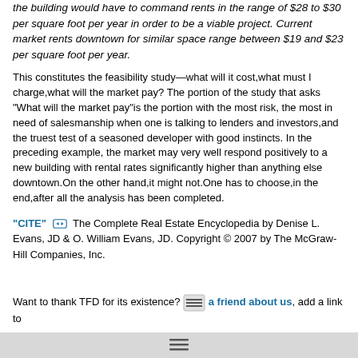the building would have to command rents in the range of $28 to $30 per square foot per year in order to be a viable project. Current market rents downtown for similar space range between $19 and $23 per square foot per year.
This constitutes the feasibility study—what will it cost,what must I charge,what will the market pay? The portion of the study that asks "What will the market pay"is the portion with the most risk, the most in need of salesmanship when one is talking to lenders and investors,and the truest test of a seasoned developer with good instincts. In the preceding example, the market may very well respond positively to a new building with rental rates significantly higher than anything else downtown.On the other hand,it might not.One has to choose,in the end,after all the analysis has been completed.
"CITE" [icon] The Complete Real Estate Encyclopedia by Denise L. Evans, JD & O. William Evans, JD. Copyright © 2007 by The McGraw-Hill Companies, Inc.
Want to thank TFD for its existence? [icon] a friend about us, add a link to